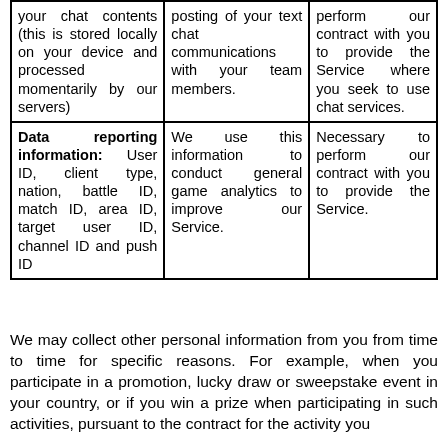| your chat contents (this is stored locally on your device and processed momentarily by our servers) | posting of your text chat communications with your team members. | perform our contract with you to provide the Service where you seek to use chat services. |
| Data reporting information: User ID, client type, nation, battle ID, match ID, area ID, target user ID, channel ID and push ID | We use this information to conduct general game analytics to improve our Service. | Necessary to perform our contract with you to provide the Service. |
We may collect other personal information from you from time to time for specific reasons. For example, when you participate in a promotion, lucky draw or sweepstake event in your country, or if you win a prize when participating in such activities, pursuant to the contract for the activity you